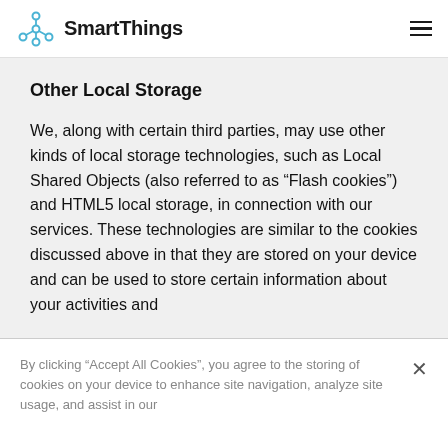SmartThings
Other Local Storage
We, along with certain third parties, may use other kinds of local storage technologies, such as Local Shared Objects (also referred to as “Flash cookies”) and HTML5 local storage, in connection with our services. These technologies are similar to the cookies discussed above in that they are stored on your device and can be used to store certain information about your activities and
By clicking “Accept All Cookies”, you agree to the storing of cookies on your device to enhance site navigation, analyze site usage, and assist in our